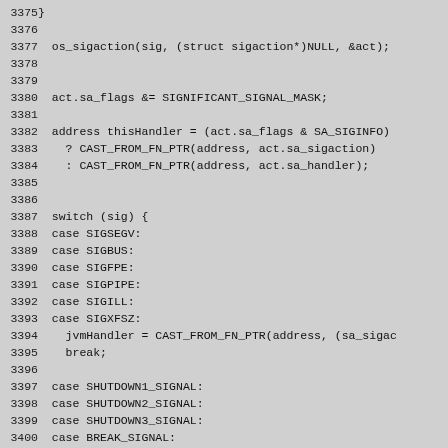Code listing lines 3375-3404 showing C++ signal handling code including os_sigaction call, act.sa_flags manipulation, switch statement on sig with cases for SIGSEGV, SIGBUS, SIGFPE, SIGPIPE, SIGILL, SIGXFSZ, SHUTDOWN1_SIGNAL, SHUTDOWN2_SIGNAL, SHUTDOWN3_SIGNAL, BREAK_SIGNAL, and INTERRUPT_SIGNAL.